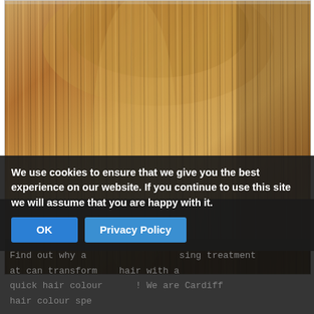[Figure (photo): Close-up photo of long, straight, glossy hair with warm brown and caramel tones, showing highlights and hair strand texture. The hair falls straight downward filling most of the image.]
Find out why a  sing treatment at can transform your hair with a quick hair colour  We are Cardiff hair colour spe
We use cookies to ensure that we give you the best experience on our website. If you continue to use this site we will assume that you are happy with it.
OK
Privacy Policy